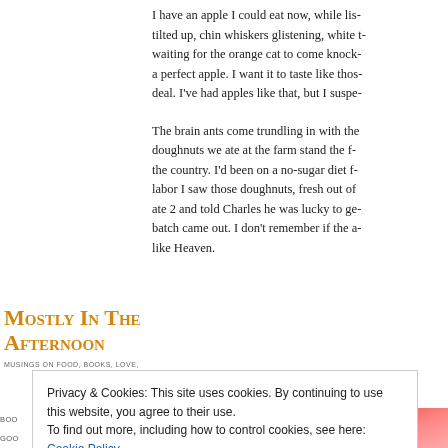I have an apple I could eat now, while list- tilted up, chin whiskers glistening, white t- waiting for the orange cat to come knock- a perfect apple. I want it to taste like thos- deal. I've had apples like that, but I suspe-
The brain ants come trundling in with the doughnuts we ate at the farm stand the f- the country. I'd been on a no-sugar diet f- labor I saw those doughnuts, fresh out of ate 2 and told Charles he was lucky to ge- batch came out. I don't remember if the a- like Heaven.
Mostly in the Afternoon
MUSINGS ON FOOD, BOOKS, LOVE,
Privacy & Cookies: This site uses cookies. By continuing to use this website, you agree to their use.
To find out more, including how to control cookies, see here: Cookie Policy
Close and accept